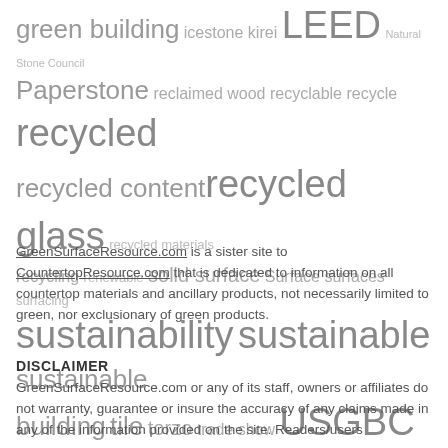green building icestone kirei LEED Natural Stone Council Paperstone reclaimed wood recyclable recycle recycled recycled content recycled glass recycled materials recycling renewable solid surface Surface surfaces surfacing sustainability sustainable sustainable building tile torzo trade show USGBC us green building council vetrazzo Video wood
GreenSurfaceResource.com is a sister site to CountertopResource.com that is dedicated to information on all countertop materials and ancillary products, not necessarily limited to green, nor exclusionary of green products.
DISCLAIMER
GreenSurfaceResource.com or any of its staff, owners or affiliates do not warranty, guarantee or insure the accuracy of any claims made in any of the information provided on the site. Readers/users